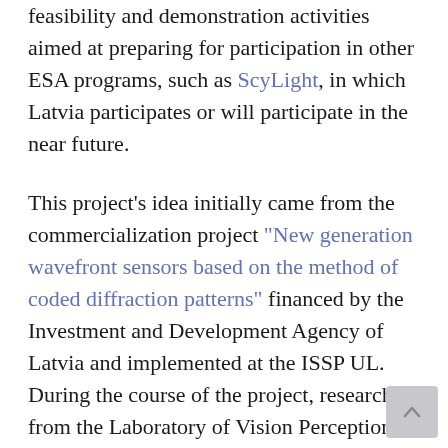feasibility and demonstration activities aimed at preparing for participation in other ESA programs, such as ScyLight, in which Latvia participates or will participate in the near future.
This project's idea initially came from the commercialization project "New generation wavefront sensors based on the method of coded diffraction patterns" financed by the Investment and Development Agency of Latvia and implemented at the ISSP UL. During the course of the project, researchers from the Laboratory of Vision Perception developed new generation of solutions for measuring and correcting the turbulence of the atmospheric